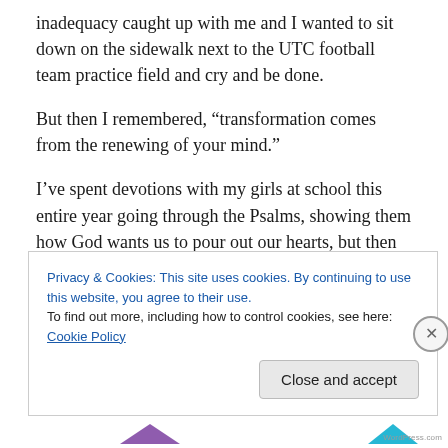inadequacy caught up with me and I wanted to sit down on the sidewalk next to the UTC football team practice field and cry and be done.
But then I remembered, “transformation comes from the renewing of your mind.”
I’ve spent devotions with my girls at school this entire year going through the Psalms, showing them how God wants us to pour out our hearts, but then acknowledge His truth to overcome our emotions.
Privacy & Cookies: This site uses cookies. By continuing to use this website, you agree to their use.
To find out more, including how to control cookies, see here: Cookie Policy
Close and accept